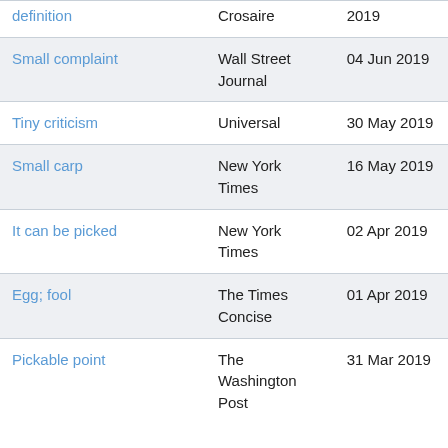| Definition | Publication | Date |
| --- | --- | --- |
| definition | Crosaire | 2019 |
| Small complaint | Wall Street Journal | 04 Jun 2019 |
| Tiny criticism | Universal | 30 May 2019 |
| Small carp | New York Times | 16 May 2019 |
| It can be picked | New York Times | 02 Apr 2019 |
| Egg; fool | The Times Concise | 01 Apr 2019 |
| Pickable point | The Washington Post | 31 Mar 2019 |